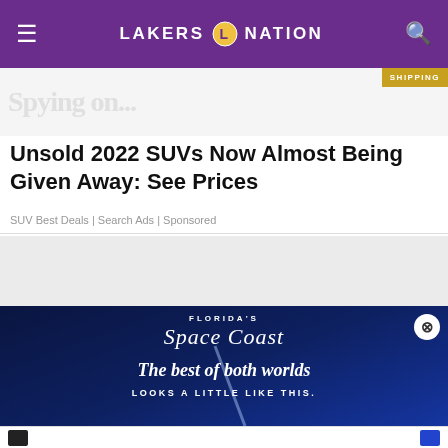LAKERS NATION
[Figure (screenshot): Partial advertisement banner showing a faded image with a gold shipping badge in the top right corner]
Unsold 2022 SUVs Now Almost Being Given Away: See Prices
SUV Best Deals | Search Ads | Sponsored
[Figure (photo): Top of a person's head with dark hair against a light background]
[Figure (infographic): Florida's Space Coast advertisement with dark blue background. Text reads: FLORIDA'S Space Coast. The best of both worlds LOOKS A LITTLE LIKE THIS. A rocket trail is visible.]